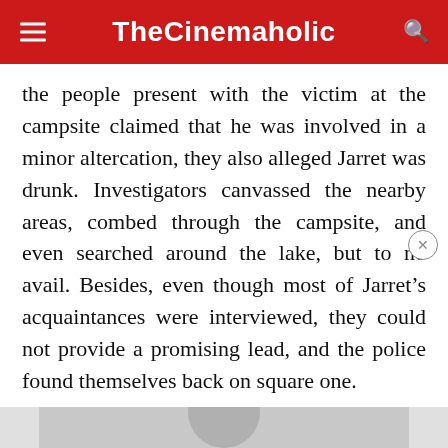TheCinemaholic
the people present with the victim at the campsite claimed that he was involved in a minor altercation, they also alleged Jarret was drunk. Investigators canvassed the nearby areas, combed through the campsite, and even searched around the lake, but to no avail. Besides, even though most of Jarret’s acquaintances were interviewed, they could not provide a promising lead, and the police found themselves back on square one.
[Figure (photo): A gray placeholder image showing a person silhouette, likely a profile photo thumbnail in an article layout.]